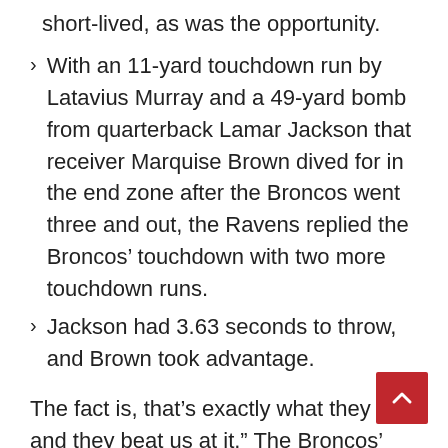short-lived, as was the opportunity.
With an 11-yard touchdown run by Latavius Murray and a 49-yard bomb from quarterback Lamar Jackson that receiver Marquise Brown dived for in the end zone after the Broncos went three and out, the Ravens replied the Broncos’ touchdown with two more touchdown runs.
Jackson had 3.63 seconds to throw, and Brown took advantage.
The fact is, that’s exactly what they do, and they beat us at it.” The Broncos’ defense allowed the longest play of the season, which was a record for the team.